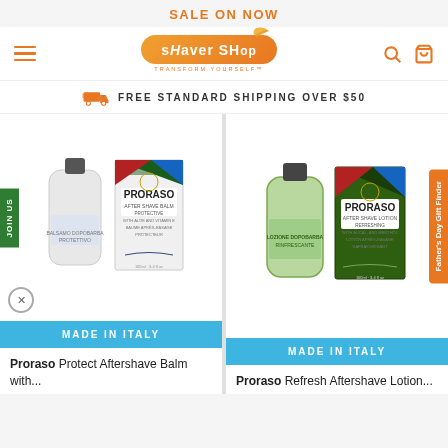SALE ON NOW
[Figure (logo): Shaver Shop logo with orange rounded pill shape and bird/wing icon, tagline TRANSFORM YOURSELF]
FREE STANDARD SHIPPING OVER $50
[Figure (photo): Proraso Protect Aftershave Balm bottle and box - white/blue packaging, JOIN US green tab on left side]
MADE IN ITALY
Proraso Protect Aftershave Balm with...
[Figure (photo): Proraso Refresh Aftershave Lotion bottle and box - green packaging, Father's Day Gift Finder orange tab on right]
MADE IN ITALY
Proraso Refresh Aftershave Lotion...